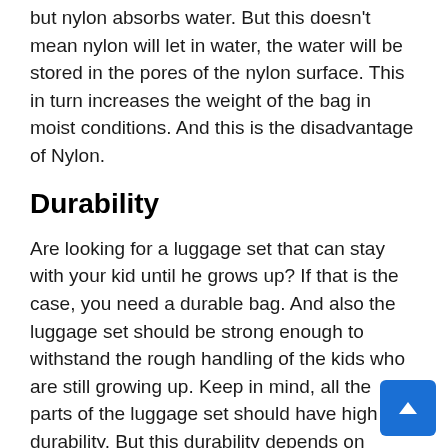but nylon absorbs water. But this doesn't mean nylon will let in water, the water will be stored in the pores of the nylon surface. This in turn increases the weight of the bag in moist conditions. And this is the disadvantage of Nylon.
Durability
Are looking for a luggage set that can stay with your kid until he grows up? If that is the case, you need a durable bag. And also the luggage set should be strong enough to withstand the rough handling of the kids who are still growing up. Keep in mind, all the parts of the luggage set should have high durability. But this durability depends on factors, one is the material and the other